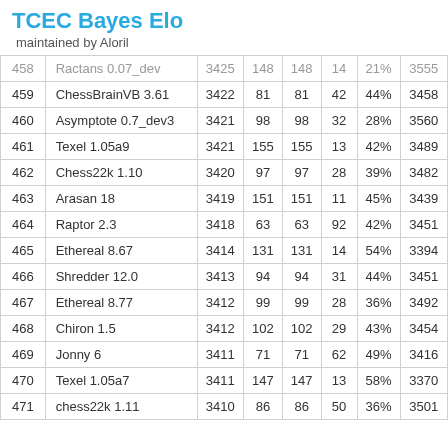TCEC Bayes Elo
maintained by Aloril
| # | Engine | Elo | + | - | Games | Score | Opp |
| --- | --- | --- | --- | --- | --- | --- | --- |
| 458 | Ractans 0.07_dev | 3425 | 148 | 148 | 14 | 21% | 3555 |
| 459 | ChessBrainVB 3.61 | 3422 | 81 | 81 | 42 | 44% | 3458 |
| 460 | Asymptote 0.7_dev3 | 3421 | 98 | 98 | 32 | 28% | 3560 |
| 461 | Texel 1.05a9 | 3421 | 155 | 155 | 13 | 42% | 3489 |
| 462 | Chess22k 1.10 | 3420 | 97 | 97 | 28 | 39% | 3482 |
| 463 | Arasan 18 | 3419 | 151 | 151 | 11 | 45% | 3439 |
| 464 | Raptor 2.3 | 3418 | 63 | 63 | 92 | 42% | 3451 |
| 465 | Ethereal 8.67 | 3414 | 131 | 131 | 14 | 54% | 3394 |
| 466 | Shredder 12.0 | 3413 | 94 | 94 | 31 | 44% | 3451 |
| 467 | Ethereal 8.77 | 3412 | 99 | 99 | 28 | 36% | 3492 |
| 468 | Chiron 1.5 | 3412 | 102 | 102 | 29 | 43% | 3454 |
| 469 | Jonny 6 | 3411 | 71 | 71 | 62 | 49% | 3416 |
| 470 | Texel 1.05a7 | 3411 | 147 | 147 | 13 | 58% | 3370 |
| 471 | chess22k 1.11 | 3410 | 86 | 86 | 50 | 36% | 3501 |